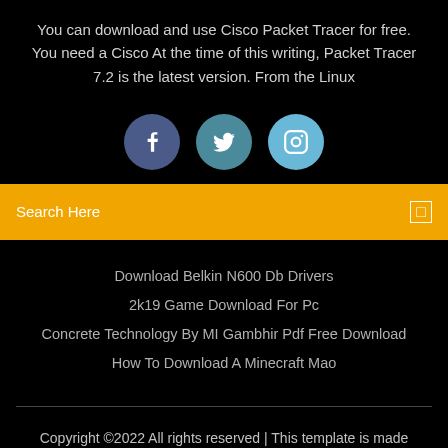You can download and use Cisco Packet Tracer for free. You need a Cisco At the time of this writing, Packet Tracer 7.2 is the latest version. From the Linux
[Figure (infographic): Three social media icon circles: Facebook (dark blue), Twitter (teal), Instagram (light blue)]
Search Here
Download Belkin N600 Db Drivers
2k19 Game Download For Pc
Concrete Technology By MI Gambhir Pdf Free Download
How To Download A Minecraft Mao
Copyright ©2022 All rights reserved | This template is made with ♡ by Colorlib